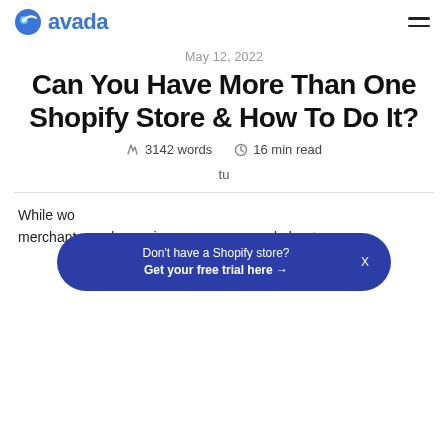avada
May 12, 2022
Can You Have More Than One Shopify Store & How To Do It?
3142 words   16 min read
tu
While wo merchants are becoming more concerned about
Don't have a Shopify store? Get your free trial here →  X